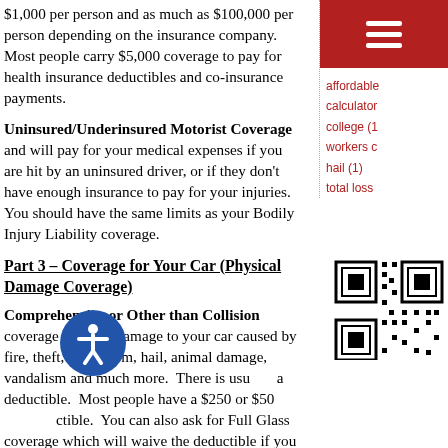$1,000 per person and as much as $100,000 per person depending on the insurance company.  Most people carry $5,000 coverage to pay for health insurance deductibles and co-insurance payments.
Uninsured/Underinsured Motorist Coverage and will pay for your medical expenses if you are hit by an uninsured driver, or if they don't have enough insurance to pay for your injuries.  You should have the same limits as your Bodily Injury Liability coverage.
Part 3 – Coverage for Your Car (Physical Damage Coverage)
Comprehensive or Other than Collision coverage pays for damage to your car caused by fire, theft, windstorm, hail, animal damage, vandalism and much more.  There is usually a deductible.  Most people have a $250 or $500 deductible.  You can also ask for Full Glass coverage which will waive the deductible if you have a broken windshield.
[Figure (other): Navigation menu icon (hamburger) on red background in the sidebar]
affordable calculator college (1) workers c hail (1) total loss
[Figure (other): QR code in the right sidebar]
[Figure (other): Accessibility icon - blue circle with person symbol]